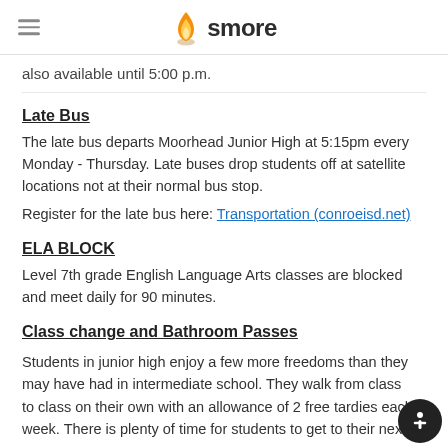smore
also available until 5:00 p.m.
Late Bus
The late bus departs Moorhead Junior High at 5:15pm every Monday - Thursday. Late buses drop students off at satellite locations not at their normal bus stop.
Register for the late bus here: Transportation (conroeisd.net)
ELA BLOCK
Level 7th grade English Language Arts classes are blocked and meet daily for 90 minutes.
Class change and Bathroom Passes
Students in junior high enjoy a few more freedoms than they may have had in intermediate school. They walk from class to class on their own with an allowance of 2 free tardies each week. There is plenty of time for students to get to their next